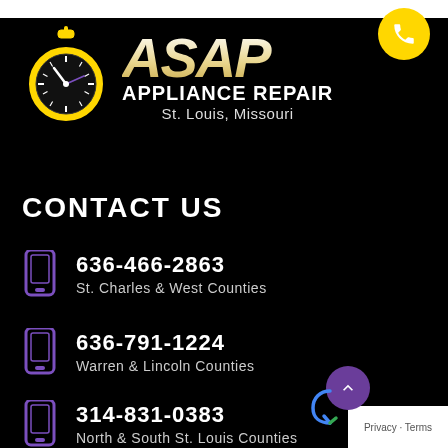[Figure (logo): ASAP Appliance Repair logo with stopwatch icon, gold italic ASAP text, white APPLIANCE REPAIR text, and St. Louis, Missouri subtitle]
CONTACT US
636-466-2863 — St. Charles & West Counties
636-791-1224 — Warren & Lincoln Counties
314-831-0383 — North & South St. Louis Counties